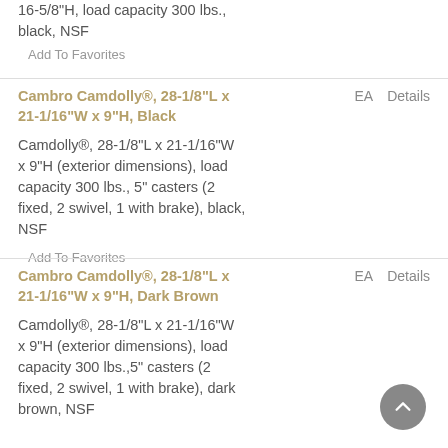16-5/8"H, load capacity 300 lbs., black, NSF
Add To Favorites
Cambro Camdolly®, 28-1/8"L x 21-1/16"W x 9"H, Black
EA
Details
Camdolly®, 28-1/8"L x 21-1/16"W x 9"H (exterior dimensions), load capacity 300 lbs., 5" casters (2 fixed, 2 swivel, 1 with brake), black, NSF
Add To Favorites
Cambro Camdolly®, 28-1/8"L x 21-1/16"W x 9"H, Dark Brown
EA
Details
Camdolly®, 28-1/8"L x 21-1/16"W x 9"H (exterior dimensions), load capacity 300 lbs.,5" casters (2 fixed, 2 swivel, 1 with brake), dark brown, NSF